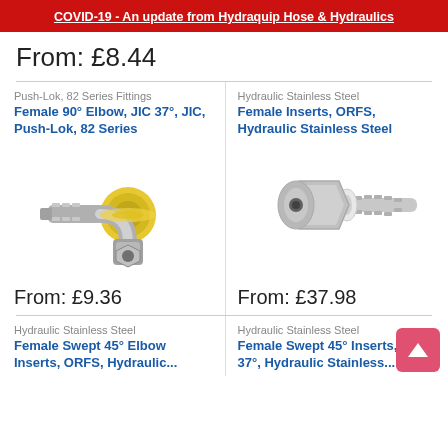COVID-19 - An update from Hydraquip Hose & Hydraulics
From: £8.44
Push-Lok, 82 Series Fittings
Female 90° Elbow, JIC 37°, JIC, Push-Lok, 82 Series
[Figure (photo): Female 90° Elbow fitting with yellow and silver metal, push-lok style connector with elbow bend]
From: £9.36
Hydraulic Stainless Steel
Female Inserts, ORFS, Hydraulic Stainless Steel
[Figure (photo): Female Insert stainless steel fitting with hexagonal nut and barbed hose connector]
From: £37.98
Hydraulic Stainless Steel
Female Swept 45° Elbow Inserts, ORFS, Hydraulic...
Hydraulic Stainless Steel
Female Swept 45° Inserts, JIC 37°, Hydraulic Stainless...